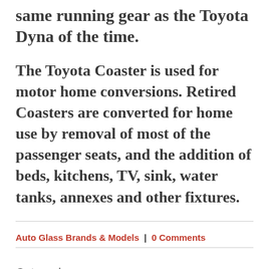same running gear as the Toyota Dyna of the time.
The Toyota Coaster is used for motor home conversions. Retired Coasters are converted for home use by removal of most of the passenger seats, and the addition of beds, kitchens, TV, sink, water tanks, annexes and other fixtures.
Auto Glass Brands & Models | 0 Comments
Categories